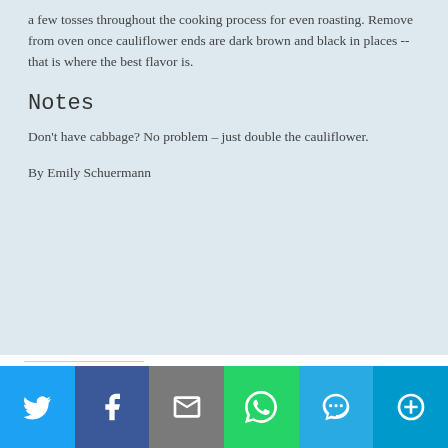a few tosses throughout the cooking process for even roasting. Remove from oven once cauliflower ends are dark brown and black in places -- that is where the best flavor is.
Notes
Don't have cabbage? No problem – just double the cauliflower.
By Emily Schuermann
LIKE THIS:
[Figure (infographic): Social share bar with Twitter, Facebook, Email, WhatsApp, SMS, and More buttons]